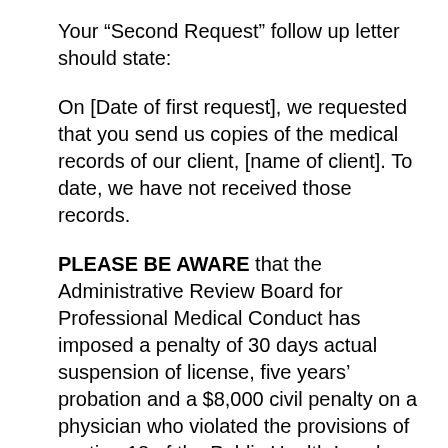Your “Second Request” follow up letter should state:
On [Date of first request], we requested that you send us copies of the medical records of our client, [name of client]. To date, we have not received those records.
PLEASE BE AWARE that the Administrative Review Board for Professional Medical Conduct has imposed a penalty of 30 days actual suspension of license, five years’ probation and a $8,000 civil penalty on a physician who violated the provisions of section 18 of the Public Health Law by failing to provide specifically requested medical records in a reasonable time and who